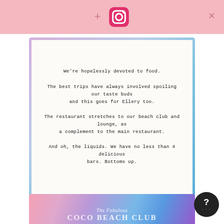[Figure (screenshot): Pink top bar with Instagram icon and plus/close buttons]
We're hopelessly devoted to food.

The best trips have always involved spoiling our taste buds and this goes for Ellery too.

The restaurant stretches to our beach club and lounge, as a complement to the main restaurant.

And oh, the liquids. We have no less than 4 delicious bars. Bottoms up.
[Figure (photo): Colorful gradient image strip at the bottom showing 'The Fabulous COCO BEACH CLUB' text on a pink/purple/blue gradient background]